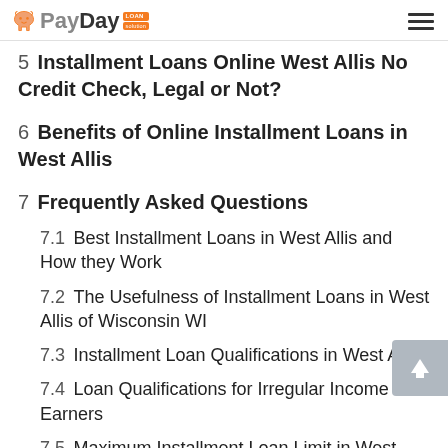PayDay Loan Solution
5  Installment Loans Online West Allis No Credit Check, Legal or Not?
6  Benefits of Online Installment Loans in West Allis
7  Frequently Asked Questions
7.1  Best Installment Loans in West Allis and How they Work
7.2  The Usefulness of Installment Loans in West Allis of Wisconsin WI
7.3  Installment Loan Qualifications in West Allis
7.4  Loan Qualifications for Irregular Income Earners
7.5  Maximum Installment Loan Limit in West...